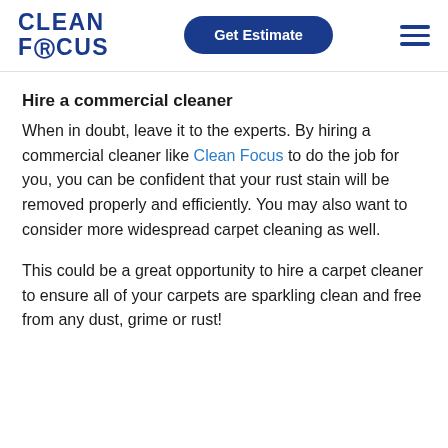[Figure (logo): Clean Focus logo with stylized '@' symbol replacing 'O' in FOCUS, dark blue color]
[Figure (other): Get Estimate button, dark blue rounded pill shape with white text]
[Figure (other): Hamburger menu icon, three horizontal dark blue lines]
Hire a commercial cleaner
When in doubt, leave it to the experts. By hiring a commercial cleaner like Clean Focus to do the job for you, you can be confident that your rust stain will be removed properly and efficiently. You may also want to consider more widespread carpet cleaning as well.
This could be a great opportunity to hire a carpet cleaner to ensure all of your carpets are sparkling clean and free from any dust, grime or rust!